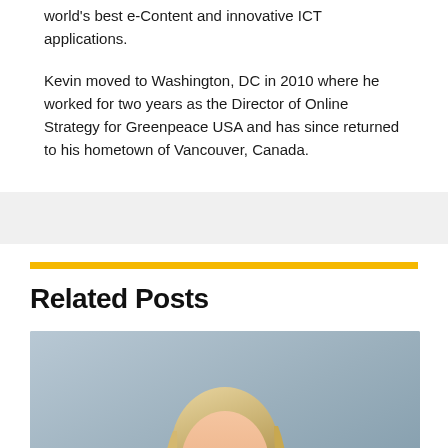world's best e-Content and innovative ICT applications. Kevin moved to Washington, DC in 2010 where he worked for two years as the Director of Online Strategy for Greenpeace USA and has since returned to his hometown of Vancouver, Canada.
Related Posts
[Figure (photo): Portrait photo of a smiling blonde woman against a grey background]